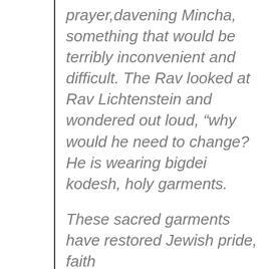prayer,davening Mincha, something that would be terribly inconvenient and difficult. The Rav looked at Rav Lichtenstein and wondered out loud, “why would he need to change? He is wearing bigdei kodesh, holy garments.

These sacred garments have restored Jewish pride, faith and…